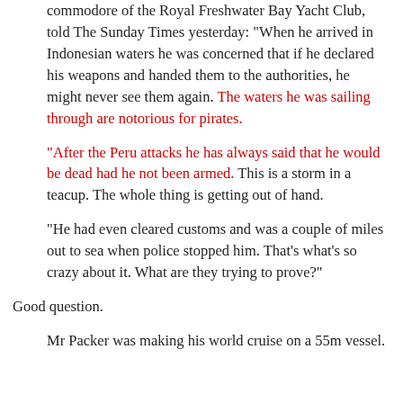commodore of the Royal Freshwater Bay Yacht Club, told The Sunday Times yesterday: "When he arrived in Indonesian waters he was concerned that if he declared his weapons and handed them to the authorities, he might never see them again. The waters he was sailing through are notorious for pirates.
"After the Peru attacks he has always said that he would be dead had he not been armed. This is a storm in a teacup. The whole thing is getting out of hand.
"He had even cleared customs and was a couple of miles out to sea when police stopped him. That's what's so crazy about it. What are they trying to prove?"
Good question.
Mr Packer was making his world cruise on a 55m vessel.